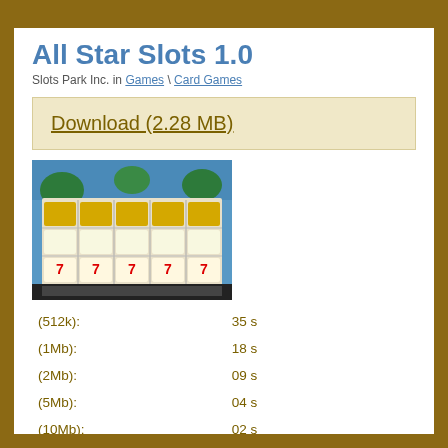All Star Slots 1.0
Slots Park Inc. in Games \ Card Games
Download (2.28 MB)
[Figure (screenshot): Screenshot of All Star Slots slot machine game showing a 5-reel slot interface with various symbols]
| Speed | Time |
| --- | --- |
| (512k): | 35 s |
| (1Mb): | 18 s |
| (2Mb): | 09 s |
| (5Mb): | 04 s |
| (10Mb): | 02 s |
License: Freeware